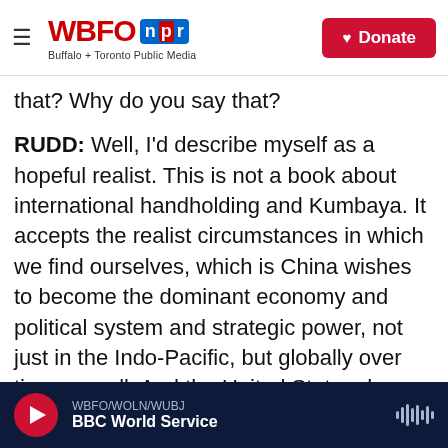WBFO NPR — Buffalo + Toronto Public Media | Donate
that? Why do you say that?
RUDD: Well, I'd describe myself as a hopeful realist. This is not a book about international handholding and Kumbaya. It accepts the realist circumstances in which we find ourselves, which is China wishes to become the dominant economy and political system and strategic power, not just in the Indo-Pacific, but globally over time as well. And the United States does not want that to occur. The second element of the equation is that there should be a full and open recognition that across the economy, trade, investment, technology, as well as
WBFO/WOLN/WUBJ — BBC World Service